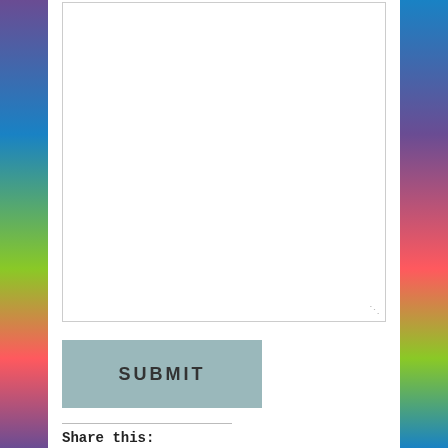[Figure (screenshot): Web page comment/share section with textarea, submit button, share social buttons, privacy cookie notice, and tagged line]
SUBMIT
Share this:
Tweet | Share 0 | SHARE | Save | More
Privacy & Cookies: This site uses cookies. By continuing to use this website, you agree to their use. To find out more, including how to control cookies, see here: Cookie Policy
Close and accept
Tagged abstract art, abstract image, abstract shapes, art,